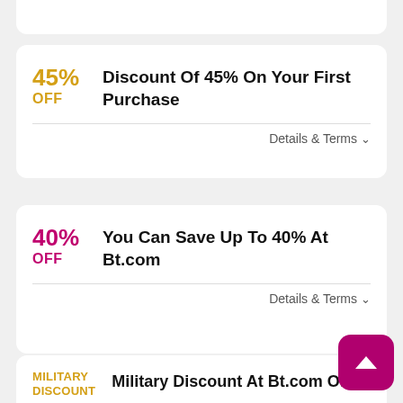45% OFF — Discount Of 45% On Your First Purchase — Details & Terms
40% OFF — You Can Save Up To 40% At Bt.com — Details & Terms
MILITARY DISCOUNT — Military Discount At Bt.com Off